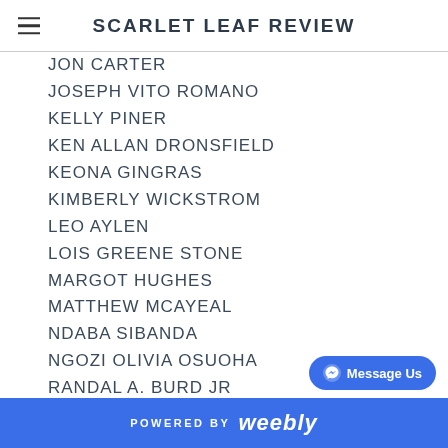SCARLET LEAF REVIEW
JON CARTER
JOSEPH VITO ROMANO
KELLY PINER
KEN ALLAN DRONSFIELD
KEONA GINGRAS
KIMBERLY WICKSTROM
LEO AYLEN
LOIS GREENE STONE
MARGOT HUGHES
MATTHEW MCAYEAL
NDABA SIBANDA
NGOZI OLIVIA OSUOHA
RANDAL A. BURD JR
RENA ROBINETT
ROBIN WYATT DUNN
RON KATZ
ROSALIND KALIDEN
SALONI KAUL
POWERED BY weebly